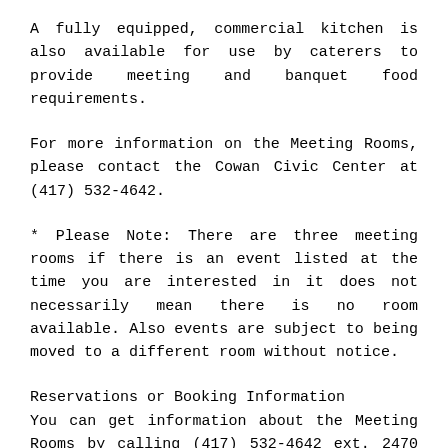A fully equipped, commercial kitchen is also available for use by caterers to provide meeting and banquet food requirements.
For more information on the Meeting Rooms, please contact the Cowan Civic Center at (417) 532-4642.
* Please Note: There are three meeting rooms if there is an event listed at the time you are interested in it does not necessarily mean there is no room available. Also events are subject to being moved to a different room without notice.
Reservations or Booking Information
You can get information about the Meeting Rooms by calling (417) 532-4642 ext. 2470 or by filling out our Information Request Form